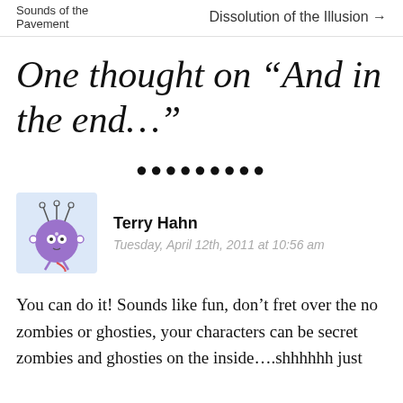Sounds of the Pavement   Dissolution of the Illusion →
One thought on “And in the end…”
••••••••
Terry Hahn
Tuesday, April 12th, 2011 at 10:56 am
You can do it! Sounds like fun, don’t fret over the no zombies or ghosties, your characters can be secret zombies and ghosties on the inside….shhhhhh just